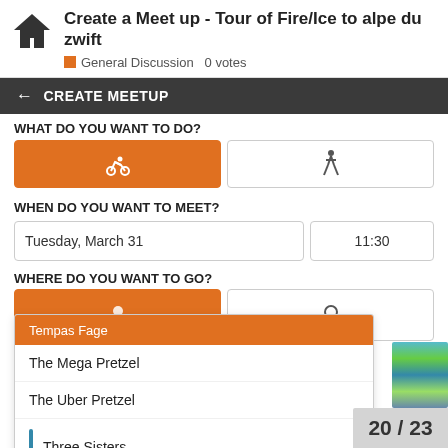Create a Meet up - Tour of Fire/Ice to alpe du zwift
General Discussion  0 votes
CREATE MEETUP
WHAT DO YOU WANT TO DO?
WHEN DO YOU WANT TO MEET?
Tuesday, March 31   11:30
WHERE DO YOU WANT TO GO?
Tempas Fage
The Mega Pretzel
The Uber Pretzel
Three Sisters
Tick Tock
Tour of Fire and Ice
Volcano Circuit
Volcano Circuit CCW
Volcano Climb
20 / 23